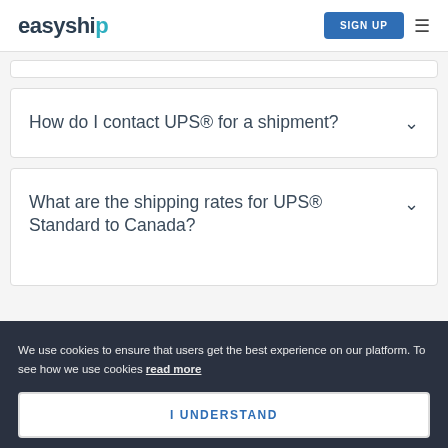easyship | SIGN UP
How do I contact UPS® for a shipment?
What are the shipping rates for UPS® Standard to Canada?
We use cookies to ensure that users get the best experience on our platform. To see how we use cookies read more
I UNDERSTAND